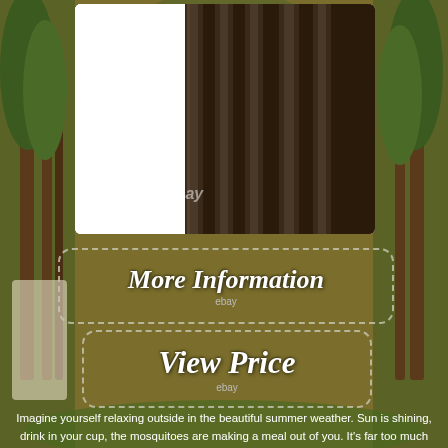[Figure (photo): Close-up photo of a dark brown metal gazebo or pergola frame component with vertical ridged columns, watermarked with 'eBay']
[Figure (infographic): Button graphic with dashed border reading 'More Information' with 'ebay' label beneath, on olive/khaki background with outdoor garden scene]
[Figure (infographic): Button graphic with dashed border reading 'View Price' with 'ebay' label beneath, on olive/khaki background]
Imagine yourself relaxing outside in the beautiful summer weather. Sun is shining, drink in your cup, the mosquitoes are making a meal out of you. It's far too much and soon you're back inside.